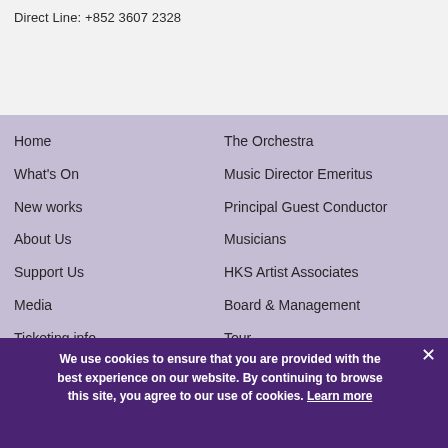Direct Line: +852 3607 2328
Home
What's On
New works
About Us
Support Us
Media
Ticketing info
Shop
The Orchestra
Music Director Emeritus
Principal Guest Conductor
Musicians
HKS Artist Associates
Board & Management
Tour
Annual Reports
We use cookies to ensure that you are provided with the best experience on our website. By continuing to browse this site, you agree to our use of cookies. Learn more